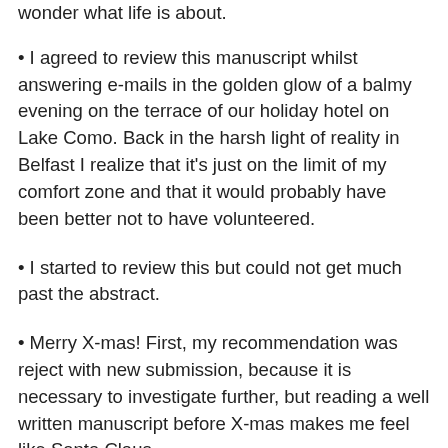wonder what life is about.
I agreed to review this manuscript whilst answering e-mails in the golden glow of a balmy evening on the terrace of our holiday hotel on Lake Como. Back in the harsh light of reality in Belfast I realize that it's just on the limit of my comfort zone and that it would probably have been better not to have volunteered.
I started to review this but could not get much past the abstract.
Merry X-mas! First, my recommendation was reject with new submission, because it is necessary to investigate further, but reading a well written manuscript before X-mas makes me feel like Santa Claus.
Ken, I would suggest that EM is setting up a fund that